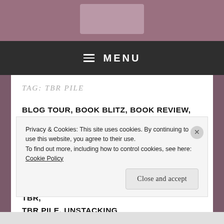[Figure (photo): Website header image with decorative background]
≡ MENU
TAG: TBR PILE
BLOG TOUR, BOOK BLITZ, BOOK REVIEW, CHICK - LIT, CONTEMPORARY FICTION, FEEL GOOD, FICTION, GENERAL FICTION, HUMOUR, LITERATURE, PROMO, RANDOM RAMBLINGS, REVIEW, SPOTLIGHT, TBR, TBR PILE, UNSTACKING
Privacy & Cookies: This site uses cookies. By continuing to use this website, you agree to their use. To find out more, including how to control cookies, see here: Cookie Policy
Close and accept